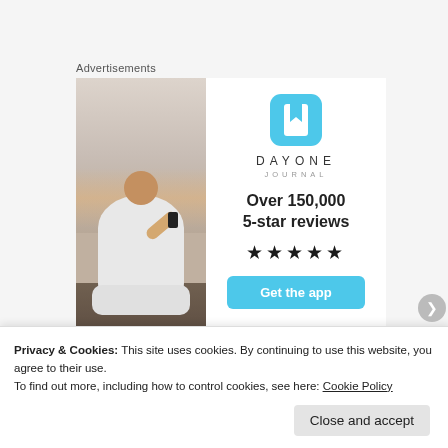Advertisements
[Figure (photo): Advertisement banner for Day One Journal app. Left side shows a photo of a person sitting on a rock taking a photo with their phone against a sunset sky. Right side shows the Day One Journal app icon (blue bookmark icon), app name 'DAY ONE JOURNAL', text 'Over 150,000 5-star reviews', five black stars, and a blue 'Get the app' button.]
Privacy & Cookies: This site uses cookies. By continuing to use this website, you agree to their use.
To find out more, including how to control cookies, see here: Cookie Policy
Close and accept